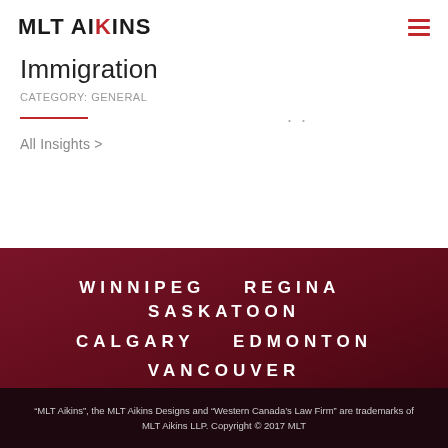MLT AIKINS
Immigration
CATEGORY: GENERAL
All Insights >
WINNIPEG   REGINA   SASKATOON   CALGARY   EDMONTON   VANCOUVER
“MLT Aikins”, the MLT Aikins Designs and “Western Canada’s Law Firm” are trademarks of MLT Aikins LLP. Copyright © 2017 MLT